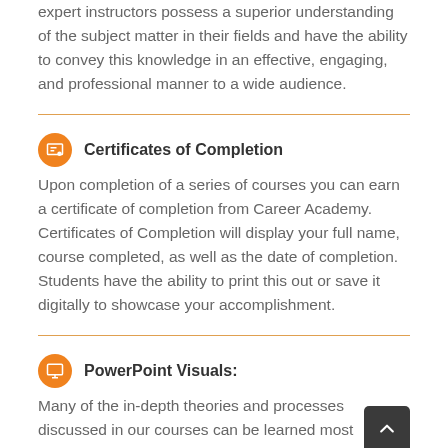expert instructors possess a superior understanding of the subject matter in their fields and have the ability to convey this knowledge in an effective, engaging, and professional manner to a wide audience.
Certificates of Completion
Upon completion of a series of courses you can earn a certificate of completion from Career Academy. Certificates of Completion will display your full name, course completed, as well as the date of completion. Students have the ability to print this out or save it digitally to showcase your accomplishment.
PowerPoint Visuals:
Many of the in-depth theories and processes discussed in our courses can be learned most efficiently through the detailed PowerPoint slides